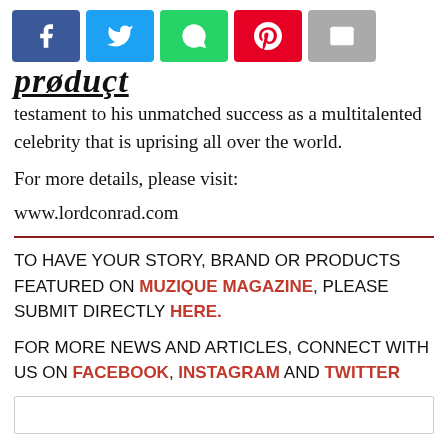[Figure (other): Social sharing buttons: Facebook (blue), Twitter (light blue), WhatsApp (green), Pinterest (red), Email (grey)]
testament to his unmatched success as a multitalented celebrity that is uprising all over the world.
For more details, please visit:
www.lordconrad.com
TO HAVE YOUR STORY, BRAND OR PRODUCTS FEATURED ON MUZIQUE MAGAZINE, PLEASE SUBMIT DIRECTLY HERE.
FOR MORE NEWS AND ARTICLES, CONNECT WITH US ON FACEBOOK, INSTAGRAM AND TWITTER